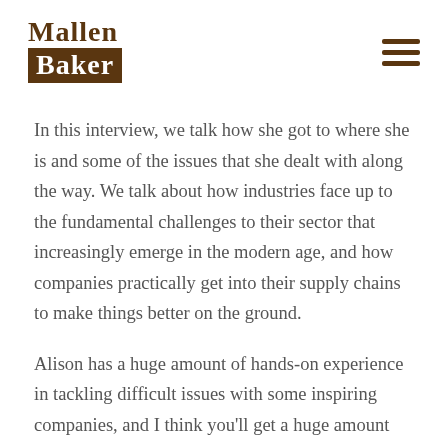Mallen Baker
In this interview, we talk how she got to where she is and some of the issues that she dealt with along the way. We talk about how industries face up to the fundamental challenges to their sector that increasingly emerge in the modern age, and how companies practically get into their supply chains to make things better on the ground.
Alison has a huge amount of hands-on experience in tackling difficult issues with some inspiring companies, and I think you'll get a huge amount